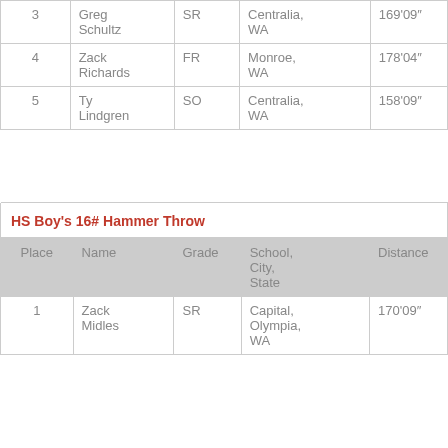| Place | Name | Grade | School, City, State | Distance |
| --- | --- | --- | --- | --- |
| 3 | Greg Schultz | SR | Centralia, WA | 169'09" |
| 4 | Zack Richards | FR | Monroe, WA | 178'04" |
| 5 | Ty Lindgren | SO | Centralia, WA | 158'09" |
HS Boy's 16# Hammer Throw
| Place | Name | Grade | School, City, State | Distance |
| --- | --- | --- | --- | --- |
| 1 | Zack Midles | SR | Capital, Olympia, WA | 170'09" |